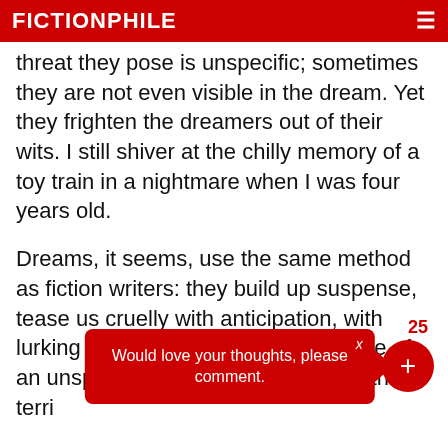FICTIONPHILE
threat they pose is unspecific; sometimes they are not even visible in the dream. Yet they frighten the dreamers out of their wits. I still shiver at the chilly memory of a toy train in a nightmare when I was four years old.
Dreams, it seems, use the same method as fiction writers: they build up suspense, tease us cruelly with anticipation, with lurking dangers, with the felt presence of an unspecified menace, long before the terri...